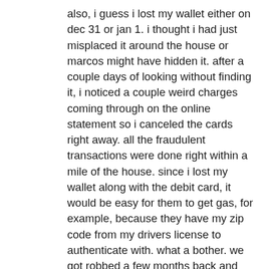also, i guess i lost my wallet either on dec 31 or jan 1. i thought i had just misplaced it around the house or marcos might have hidden it. after a couple days of looking without finding it, i noticed a couple weird charges coming through on the online statement so i canceled the cards right away. all the fraudulent transactions were done right within a mile of the house. since i lost my wallet along with the debit card, it would be easy for them to get gas, for example, because they have my zip code from my drivers license to authenticate with. what a bother. we got robbed a few months back and now this is happening. i'm going to have to revisit my personal handling of that stuff and see if we can totally lock down to prevent this from happening. the bank will refund any money from transactions we didn't originate, but it's more just a hassle than anything else having to get new cards and all that. to top it off,